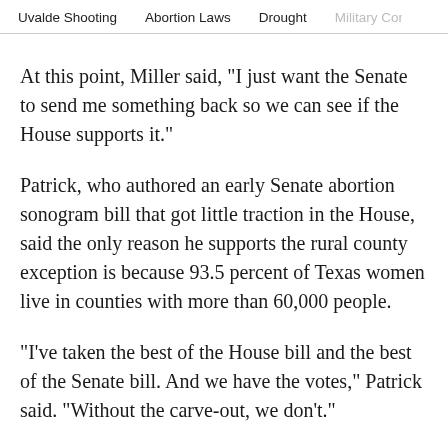Uvalde Shooting    Abortion Laws    Drought    Military Confineme…
At this point, Miller said, "I just want the Senate to send me something back so we can see if the House supports it."
Patrick, who authored an early Senate abortion sonogram bill that got little traction in the House, said the only reason he supports the rural county exception is because 93.5 percent of Texas women live in counties with more than 60,000 people.
"I've taken the best of the House bill and the best of the Senate bill. And we have the votes," Patrick said. "Without the carve-out, we don't."
Texas Tribune donors or members may be quoted or mentioned in our stories, or may be the subject of